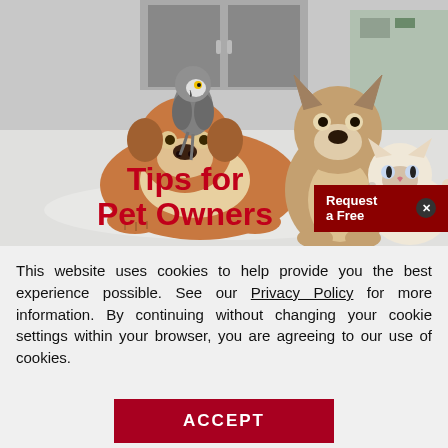[Figure (photo): Photo of pets including a bulldog lying down with a grey parrot on its head, a French bulldog sitting, and a Himalayan cat, set in a bright room with white/grey flooring. Overlaid with 'Tips for Pet Owners' text in bold red and a 'Request a Free' dark red popup button with a close X.]
This website uses cookies to help provide you the best experience possible. See our Privacy Policy for more information. By continuing without changing your cookie settings within your browser, you are agreeing to our use of cookies.
ACCEPT